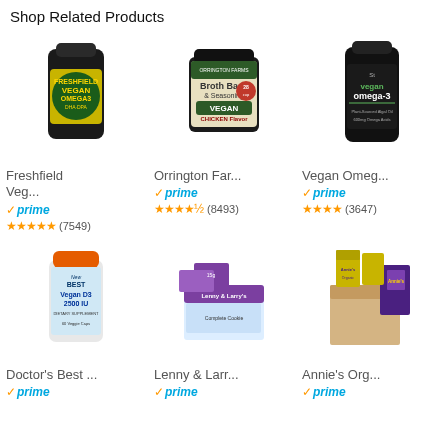Shop Related Products
[Figure (photo): Freshfield Vegan Omega-3 supplement bottle, black with yellow label]
Freshfield Veg...
✓prime
★★★★★ (7549)
[Figure (photo): Orrington Farms Broth Base & Seasoning Vegan Chicken Flavor jar]
Orrington Far...
✓prime
★★★★½ (8493)
[Figure (photo): Vegan Omega-3 supplement bottle, black with green label]
Vegan Omeg...
✓prime
★★★★ (3647)
[Figure (photo): Doctor's Best Vegan D3 2500IU supplement bottle with orange cap]
Doctor's Best ...
✓prime
[Figure (photo): Lenny & Larry's protein cookies box set]
Lenny & Larr...
✓prime
[Figure (photo): Annie's Organic mac and cheese variety pack in open box]
Annie's Org...
✓prime